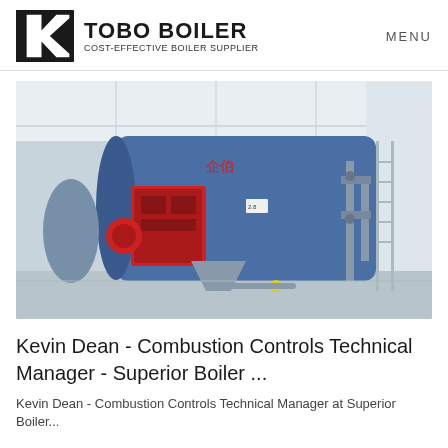TOBO BOILER | COST-EFFECTIVE BOILER SUPPLIER | MENU
[Figure (photo): Industrial boiler equipment in a factory setting. A large blue horizontal boiler with red burner components, pipes, valves, and scaffolding visible. High-ceiling white industrial building.]
Kevin Dean - Combustion Controls Technical Manager - Superior Boiler ...
Kevin Dean - Combustion Controls Technical Manager at Superior Boiler...